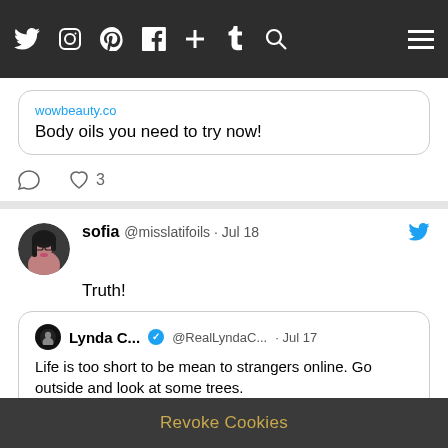[Figure (screenshot): Website navigation bar with social media icons: Twitter, Instagram, Pinterest, Facebook, Plus, Tumblr, Search, and hamburger menu]
wowbeauty.co
Body oils you need to try now!
♡ 3
sofia @misslatifoils · Jul 18
Truth!
Lynda C... @RealLyndaC... · Jul 17
Life is too short to be mean to strangers online. Go outside and look at some trees.
sofia @misslatifoils · Jul 17
Revoke Cookies